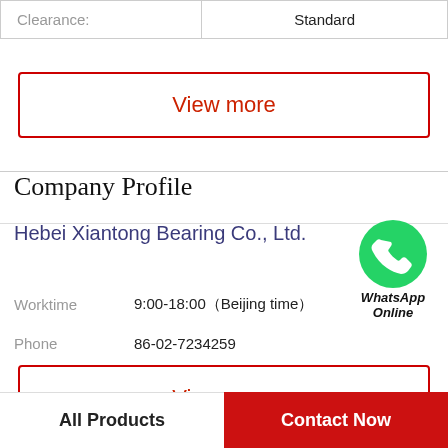| Clearance: | Standard |
| --- | --- |
| Clearance: | Standard |
View more
Company Profile
Hebei Xiantong Bearing Co., Ltd.
[Figure (illustration): WhatsApp green phone icon with text 'WhatsApp Online' below]
Worktime   9:00-18:00（Beijing time）
Phone   86-02-7234259
View more
All Products
Contact Now